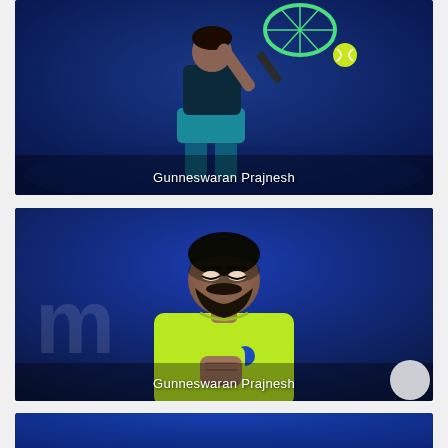[Figure (photo): Action shot of tennis player Gunneswaran Prajnesh hitting a ball with a racket, wearing a teal outfit, dark background]
Gunneswaran Prajnesh
[Figure (photo): Portrait photo of tennis player Gunneswaran Prajnesh in a yellow-green Lotto shirt, making a fist pump, blue court background]
Gunneswaran Prajnesh
[Figure (photo): Partial view of a blue background photo, cropped at bottom of page]